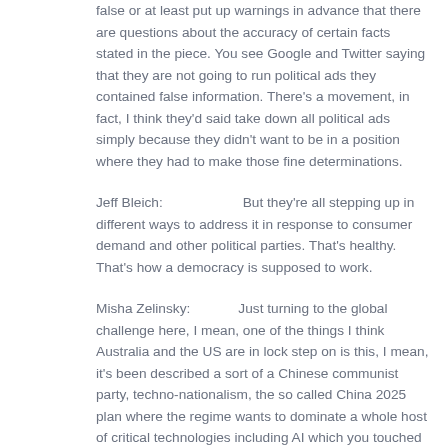false or at least put up warnings in advance that there are questions about the accuracy of certain facts stated in the piece. You see Google and Twitter saying that they are not going to run political ads they contained false information. There's a movement, in fact, I think they'd said take down all political ads simply because they didn't want to be in a position where they had to make those fine determinations.
Jeff Bleich: But they're all stepping up in different ways to address it in response to consumer demand and other political parties. That's healthy. That's how a democracy is supposed to work.
Misha Zelinsky: Just turning to the global challenge here, I mean, one of the things I think Australia and the US are in lock step on is this, I mean, it's been described a sort of a Chinese communist party, techno-nationalism, the so called China 2025 plan where the regime wants to dominate a whole host of critical technologies including AI which you touched on earlier. I mean, do you think this is a new bipartisan position in the US and does the president, president Trump,